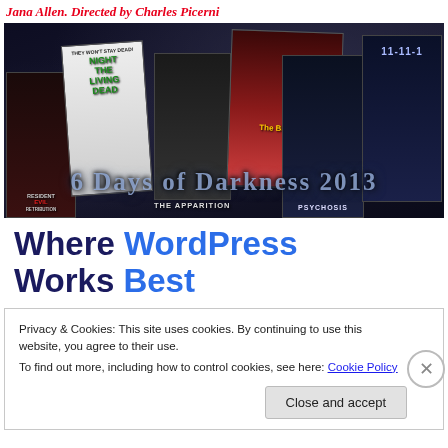Jana Allen. Directed by Charles Picerni
[Figure (photo): A collage of horror movie posters on a dark background with the text '6 Days of Darkness 2013' overlaid. Visible posters include Night of the Living Dead, The Bleeding, 11-11-11, Psychosis, The Apparition, and Resident Evil: Retribution.]
Where WordPress Works Best
Privacy & Cookies: This site uses cookies. By continuing to use this website, you agree to their use.
To find out more, including how to control cookies, see here: Cookie Policy
Close and accept